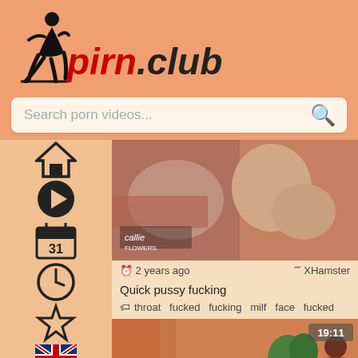[Figure (logo): pirn.club website logo with silhouette figure and stylized text]
Search porn videos...
[Figure (screenshot): Adult video thumbnail - explicit content]
2 years ago
XHamster
Quick pussy fucking
throat  fucked  fucking  milf  face  fucked
[Figure (screenshot): Adult video thumbnail - woman in red shirt, 19:11 duration]